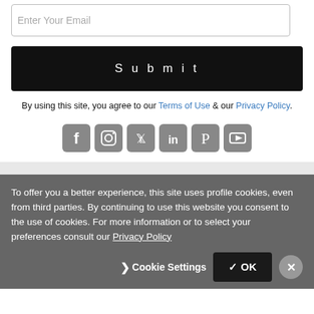Enter Your Email
Submit
By using this site, you agree to our Terms of Use & our Privacy Policy.
[Figure (illustration): Row of 6 social media icons: Facebook, Instagram, Twitter, LinkedIn, Pinterest, YouTube — all gray rounded square style]
To offer you a better experience, this site uses profile cookies, even from third parties. By continuing to use this website you consent to the use of cookies. For more information or to select your preferences consult our Privacy Policy
❯ Cookie Settings   ✓ OK   ✕